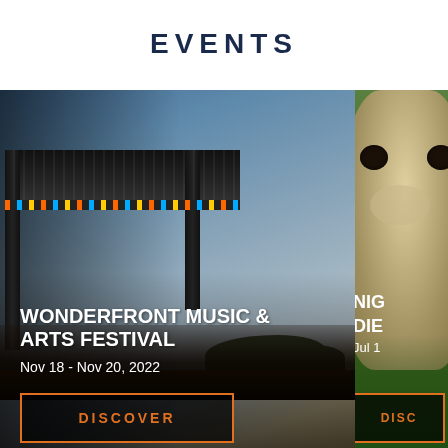EVENTS
[Figure (photo): Outdoor music festival stage with large crowd at sunset, warm golden light. Stage has truss lighting rig and curved shell structure.]
WONDERFRONT MUSIC & ARTS FESTIVAL
Nov 18 - Nov 20, 2022
DISCOVER
[Figure (photo): Partially visible animal (appears to be a sloth or bear) close-up photo with green background, partially cropped at right edge.]
NIG DIE
Jul 1